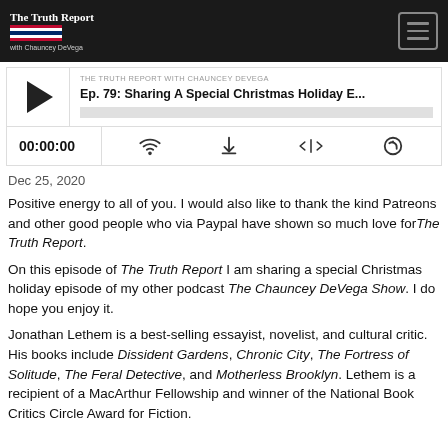The Truth Report with Chauncey DeVega
[Figure (screenshot): Podcast player widget showing episode 'Ep. 79: Sharing A Special Christmas Holiday E...' from The Truth Report with Chauncey DeVega. Player shows 00:00:00 time and playback controls including cast, download, embed, and speed icons.]
Dec 25, 2020
Positive energy to all of you. I would also like to thank the kind Patreons and other good people who via Paypal have shown so much love for The Truth Report.
On this episode of The Truth Report I am sharing a special Christmas holiday episode of my other podcast The Chauncey DeVega Show. I do hope you enjoy it.
Jonathan Lethem is a best-selling essayist, novelist, and cultural critic. His books include Dissident Gardens, Chronic City, The Fortress of Solitude, The Feral Detective, and Motherless Brooklyn. Lethem is a recipient of a MacArthur Fellowship and winner of the National Book Critics Circle Award for Fiction.